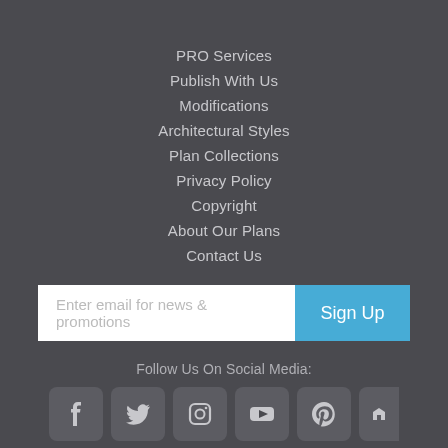PRO Services
Publish With Us
Modifications
Architectural Styles
Plan Collections
Privacy Policy
Copyright
About Our Plans
Contact Us
Enter email for news & promotions
Sign Up
Follow Us On Social Media:
[Figure (illustration): Row of social media icons: Facebook, Twitter, Instagram, YouTube, Pinterest, Houzz — each in a rounded square box]